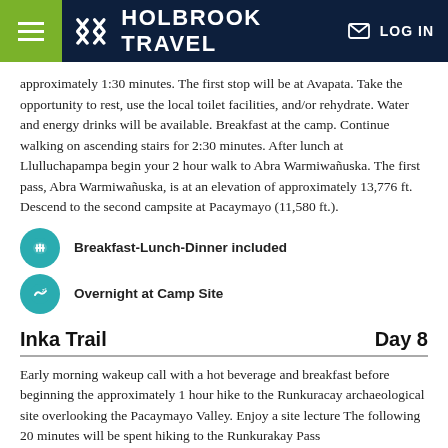Holbrook Travel — LOG IN
approximately 1:30 minutes. The first stop will be at Avapata. Take the opportunity to rest, use the local toilet facilities, and/or rehydrate. Water and energy drinks will be available. Breakfast at the camp. Continue walking on ascending stairs for 2:30 minutes. After lunch at Llulluchapampa begin your 2 hour walk to Abra Warmiwañuska. The first pass, Abra Warmiwañuska, is at an elevation of approximately 13,776 ft. Descend to the second campsite at Pacaymayo (11,580 ft.).
Breakfast-Lunch-Dinner included
Overnight at Camp Site
Inka Trail — Day 8
Early morning wakeup call with a hot beverage and breakfast before beginning the approximately 1 hour hike to the Runkuracay archaeological site overlooking the Pacaymayo Valley. Enjoy a site lecture The following 20 minutes will be spent hiking to the Runkurakay Pass